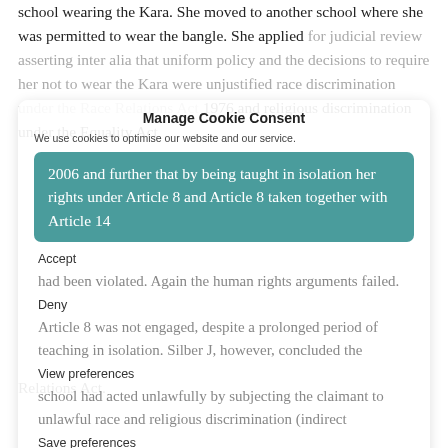school wearing the Kara. She moved to another school where she was permitted to wear the bangle. She applied for judicial review asserting inter alia that uniform policy and the decisions to require her not to wear the Kara were unjustified race discrimination under the Race Relations Act 1976 and religious discrimination under the Equality Act 2006 and further that by being taught in isolation her rights under Article 8 and Article 8 taken together with Article 14 had been violated. Again the human rights arguments failed. Article 8 was not engaged, despite a prolonged period of teaching in isolation. Silber J, however, concluded the school had acted unlawfully by subjecting the claimant to unlawful race and religious discrimination (indirect discrimination) and had failed to have in place a racial equality plan as required under section 71 of the Race Relations Act.
Manage Cookie Consent
We use cookies to optimise our website and our service.
Accept
Deny
View preferences
Save preferences